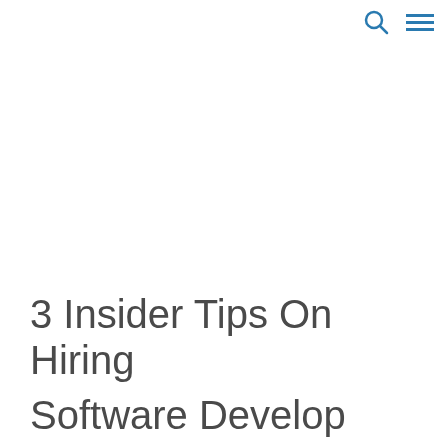🔍 ≡
3 Insider Tips On Hiring Software Developers